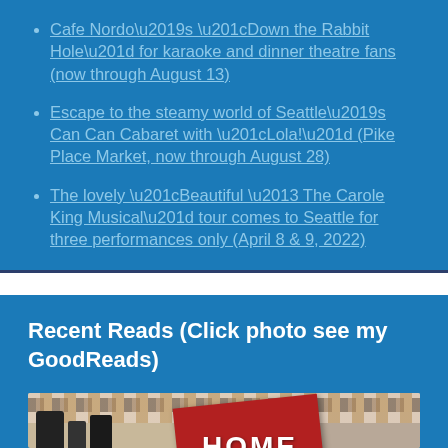Cafe Nordo’s “Down the Rabbit Hole” for karaoke and dinner theatre fans (now through August 13)
Escape to the steamy world of Seattle’s Can Can Cabaret with “Lola!” (Pike Place Market, now through August 28)
The lovely “Beautiful – The Carole King Musical” tour comes to Seattle for three performances only (April 8 & 9, 2022)
Recent Reads (Click photo see my GoodReads)
[Figure (photo): Photo of books including a red book with 'HOME' text visible, surrounded by other items with patterned background]